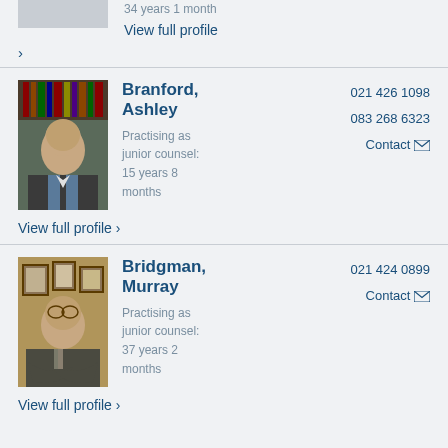34 years 1 month
View full profile ›
›
[Figure (photo): Professional headshot of Ashley Branford, a bald man in a suit, in front of bookshelves]
Branford, Ashley
Practising as junior counsel: 15 years 8 months
021 426 1098
083 268 6323
Contact
View full profile ›
[Figure (photo): Professional headshot of Murray Bridgman, a man with glasses and crossed arms, in front of framed pictures]
Bridgman, Murray
Practising as junior counsel: 37 years 2 months
021 424 0899
Contact
View full profile ›